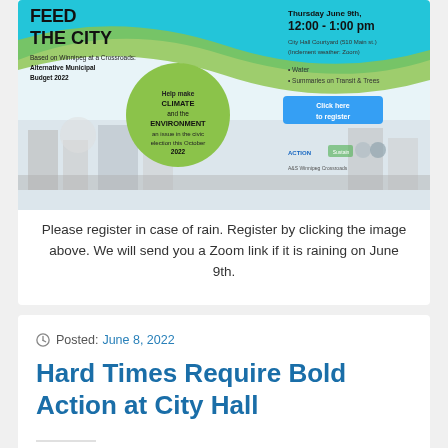[Figure (infographic): Event flyer for 'FEED THE CITY' based on Winnipeg at a Crossroads: Alternative Municipal Budget 2022. Thursday June 9th, 12:00–1:00pm at City Hall Courtyard (510 Main St.) or Zoom. Topics include Water, Summaries on Transit & Trees. Green circle says 'Help make CLIMATE and the ENVIRONMENT an issue in the civic election this October 2022'. Button: 'Click here to register'. Logos at bottom right. Aerial city illustration background.]
Please register in case of rain. Register by clicking the image above. We will send you a Zoom link if it is raining on June 9th.
Posted: June 8, 2022
Hard Times Require Bold Action at City Hall